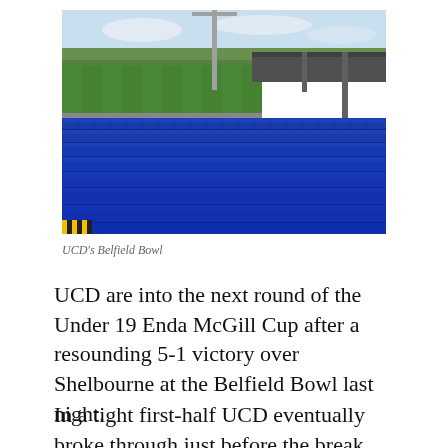[Figure (photo): UCD's Belfield Bowl stadium showing rows of blue seats in the stand with a green football pitch visible in the background under a partly cloudy sky.]
UCD's Belfield Bowl
UCD are into the next round of the Under 19 Enda McGill Cup after a resounding 5-1 victory over Shelbourne at the Belfield Bowl last night.
In a tight first-half UCD eventually broke through just before the break when Cian Lynch